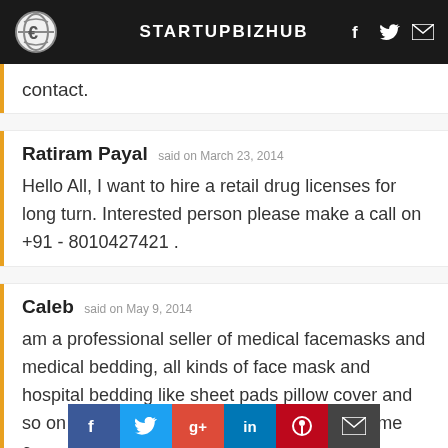STARTUPBIZHUB
contact.
Ratiram Payal said on March 23, 2014
Hello All, I want to hire a retail drug licenses for long turn. Interested person please make a call on +91 - 8010427421 .
Caleb said on May 9, 2014
am a professional seller of medical facemasks and medical bedding, all kinds of face mask and hospital bedding like sheet pads pillow cover and so on ,whoever has need of this, plz contact me c[…]nd